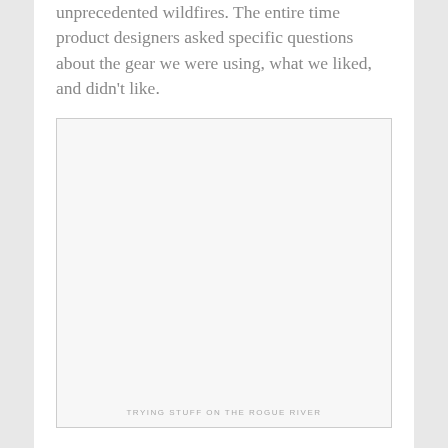unprecedented wildfires. The entire time product designers asked specific questions about the gear we were using, what we liked, and didn't like.
[Figure (photo): A large white/light gray rectangular photo placeholder with a border, containing a caption at the bottom reading 'TRYING STUFF ON THE ROGUE RIVER']
TRYING STUFF ON THE ROGUE RIVER